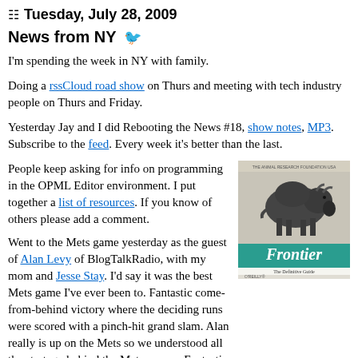Tuesday, July 28, 2009
News from NY
I'm spending the week in NY with family.
Doing a rssCloud road show on Thurs and meeting with tech industry people on Thurs and Friday.
Yesterday Jay and I did Rebooting the News #18, show notes, MP3. Subscribe to the feed. Every week it's better than the last.
People keep asking for info on programming in the OPML Editor environment. I put together a list of resources. If you know of others please add a comment.
[Figure (photo): Book cover of 'Frontier: The Definitive Guide' by O'Reilly, showing a bison on the cover]
Went to the Mets game yesterday as the guest of Alan Levy of BlogTalkRadio, with my mom and Jesse Stay. I'd say it was the best Mets game I've ever been to. Fantastic come-from-behind victory where the deciding runs were scored with a pinch-hit grand slam. Alan really is up on the Mets so we understood all the strategy behind the Mets moves. Fantastic game. (Right up there with the exciting 16-run World Series blo...